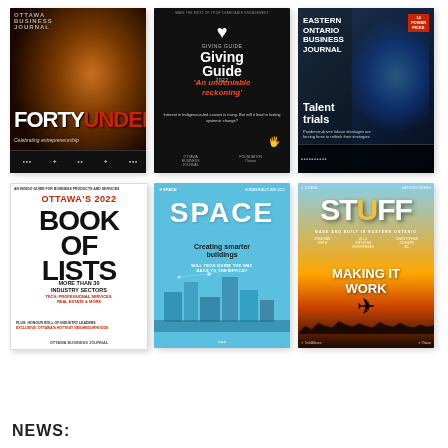[Figure (illustration): Grid of 6 magazine/publication covers: Forty Under 40, Giving Guide, Eastern Ontario Business Journal (Talent trials), Ottawa's 2022 Book of Lists, SPACE (Creating smarter buildings), and STUFF (Making It Work)]
NEWS: